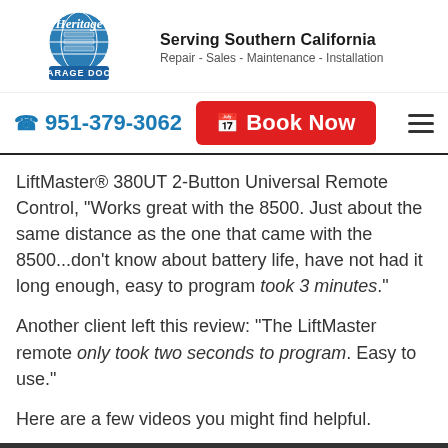[Figure (logo): Heritage Garage Door logo with blue globe/garage door graphic and cursive text 'Heritage' above 'GARAGE DOOR' in white on blue banner]
Serving Southern California
Repair - Sales - Maintenance - Installation
951-379-3062  Book Now
LiftMaster® 380UT 2-Button Universal Remote Control, "Works great with the 8500. Just about the same distance as the one that came with the 8500...don't know about battery life, have not had it long enough, easy to program took 3 minutes."
Another client left this review: "The LiftMaster remote only took two seconds to program. Easy to use."
Here are a few videos you might find helpful.